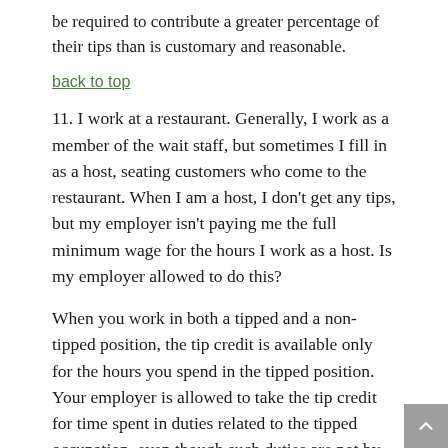be required to contribute a greater percentage of their tips than is customary and reasonable.
back to top
11. I work at a restaurant. Generally, I work as a member of the wait staff, but sometimes I fill in as a host, seating customers who come to the restaurant. When I am a host, I don't get any tips, but my employer isn't paying me the full minimum wage for the hours I work as a host. Is my employer allowed to do this?
When you work in both a tipped and a non-tipped position, the tip credit is available only for the hours you spend in the tipped position. Your employer is allowed to take the tip credit for time spent in duties related to the tipped occupation, even though such duties are not by themselves directed toward producing tips, provided such duties are incidental to the regular duties and are generally